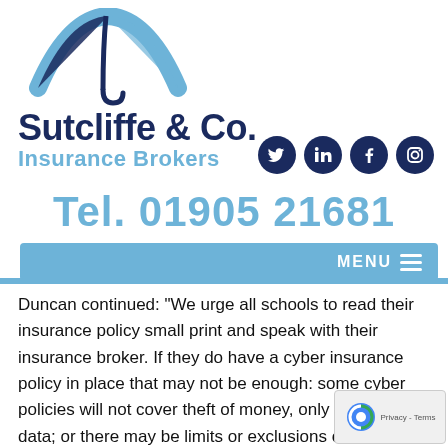[Figure (logo): Sutcliffe & Co. Insurance Brokers logo with umbrella graphic in blue shades]
[Figure (infographic): Four social media icons (Twitter, LinkedIn, Facebook, Instagram) as dark navy circles]
Tel. 01905 21681
[Figure (infographic): Blue navigation menu bar with MENU label and hamburger icon]
Duncan continued: “We urge all schools to read their insurance policy small print and speak with their insurance broker. If they do have a cyber insurance policy in place that may not be enough: some cyber policies will not cover theft of money, only theft of data; or there may be limits or exclusions on the policy. Addition many cyber policies offer cover for the forensic, le PR costs necessary to manage a cyber breach but not for